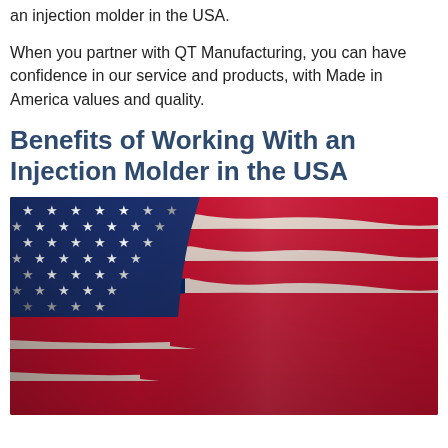an injection molder in the USA.
When you partner with QT Manufacturing, you can have confidence in our service and products, with Made in America values and quality.
Benefits of Working With an Injection Molder in the USA
[Figure (photo): Close-up photograph of an American flag waving, showing the blue canton with white stars on the left and red and white stripes on the right.]